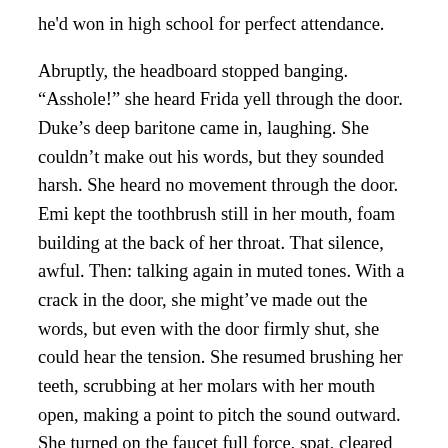he'd won in high school for perfect attendance.
Abruptly, the headboard stopped banging. “Asshole!” she heard Frida yell through the door. Duke’s deep baritone came in, laughing. She couldn’t make out his words, but they sounded harsh. She heard no movement through the door. Emi kept the toothbrush still in her mouth, foam building at the back of her throat. That silence, awful. Then: talking again in muted tones. With a crack in the door, she might’ve made out the words, but even with the door firmly shut, she could hear the tension. She resumed brushing her teeth, scrubbing at her molars with her mouth open, making a point to pitch the sound outward. She turned on the faucet full force, spat, cleared her throat, and sang the words to “Cumbia de los Muertos” as loud as she could: Aquí no existe la tristeza, solo existe la alegría.